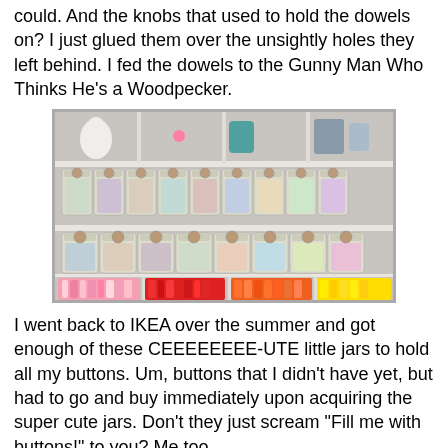could. And the knobs that used to hold the dowels on? I just glued them over the unsightly holes they left behind. I fed the dowels to the Gunny Man Who Thinks He's a Woodpecker.
[Figure (photo): A white shelving unit containing multiple rows of small glass jars filled with buttons and craft supplies, plus rolls of colorful ribbon on the bottom shelf.]
I went back to IKEA over the summer and got enough of these CEEEEEEEE-UTE little jars to hold all my buttons. Um, buttons that I didn't have yet, but had to go and buy immediately upon acquiring the super cute jars. Don't they just scream "Fill me with buttons!" to you? Me too.